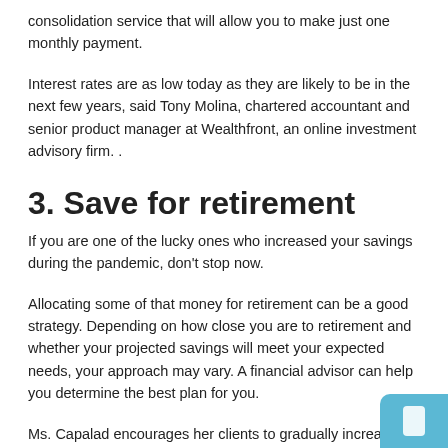consolidation service that will allow you to make just one monthly payment.
Interest rates are as low today as they are likely to be in the next few years, said Tony Molina, chartered accountant and senior product manager at Wealthfront, an online investment advisory firm. .
3. Save for retirement
If you are one of the lucky ones who increased your savings during the pandemic, don't stop now.
Allocating some of that money for retirement can be a good strategy. Depending on how close you are to retirement and whether your projected savings will meet your expected needs, your approach may vary. A financial advisor can help you determine the best plan for you.
Ms. Capalad encourages her clients to gradually increase their retirement savings. If every six to 12 months you increase your pension contributions by 1%, you will build up that balance, but the